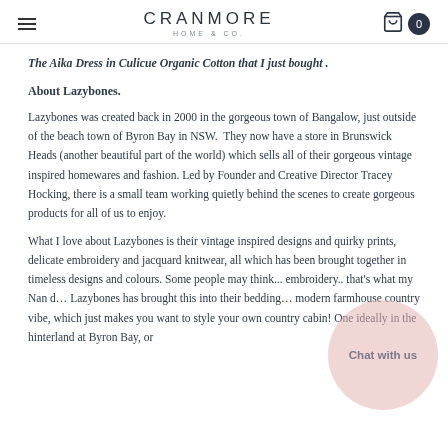CRANMORE HOME & CO.
The Aika Dress in Culicue Organic Cotton that I just bought .
About Lazybones.
Lazybones was created back in 2000 in the gorgeous town of Bangalow, just outside of the beach town of Byron Bay in NSW.  They now have a store in Brunswick Heads (another beautiful part of the world) which sells all of their gorgeous vintage inspired homewares and fashion. Led by Founder and Creative Director Tracey Hocking, there is a small team working quietly behind the scenes to create gorgeous products for all of us to enjoy.
What I love about Lazybones is their vintage inspired designs and quirky prints, delicate embroidery and jacquard knitwear, all which has been brought together in timeless designs and colours. Some people may think... embroidery.. that's what my Nan d... Lazybones has brought this into their bedding... modern farmhouse country vibe, which just makes you want to style your own country cabin! One ideally in the hinterland at Byron Bay, or